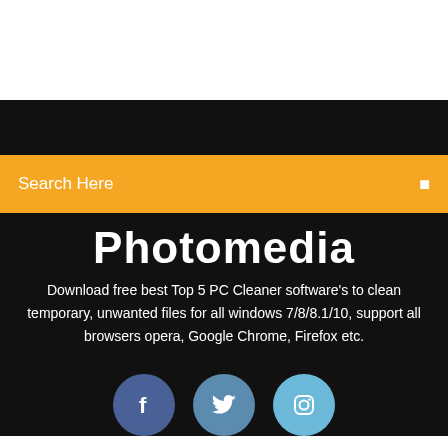Search Here
Photomedia
Download free best Top 5 PC Cleaner software's to clean temporary, unwanted files for all windows 7/8/8.1/10, support all browsers opera, Google Chrome, Firefox etc.
[Figure (infographic): Three social media icon circles: Facebook (dark blue), Twitter (medium blue), Instagram (light blue)]